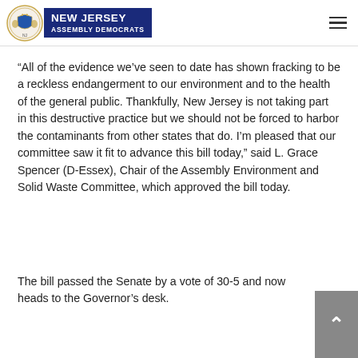New Jersey Assembly Democrats
“All of the evidence we’ve seen to date has shown fracking to be a reckless endangerment to our environment and to the health of the general public. Thankfully, New Jersey is not taking part in this destructive practice but we should not be forced to harbor the contaminants from other states that do. I’m pleased that our committee saw it fit to advance this bill today,” said L. Grace Spencer (D-Essex), Chair of the Assembly Environment and Solid Waste Committee, which approved the bill today.
The bill passed the Senate by a vote of 30-5 and now heads to the Governor’s desk.